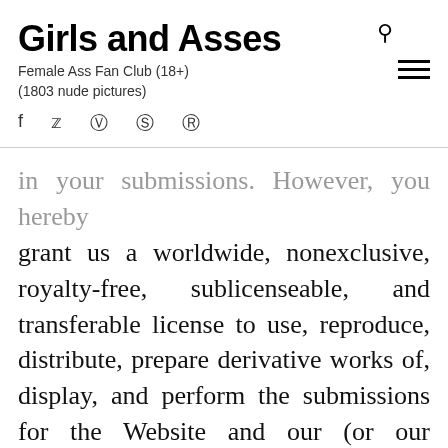Girls and Asses
Female Ass Fan Club (18+)
(1803 nude pictures)
in your submissions. However, you hereby grant us a worldwide, nonexclusive, royalty-free, sublicenseable, and transferable license to use, reproduce, distribute, prepare derivative works of, display, and perform the submissions for the Website and our (or our successor's) business, including for promoting and redistributing any part of the Website–and derivative works of it–in any media formats and through any media channels. You further waive all moral rights in your